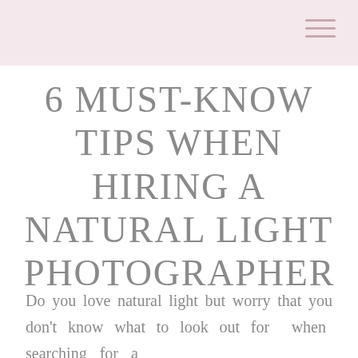6 MUST-KNOW TIPS WHEN HIRING A NATURAL LIGHT PHOTOGRAPHER
Do you love natural light but worry that you don't know what to look out for when searching for a